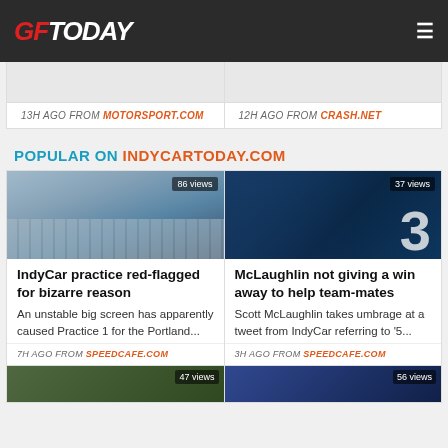GFToday
13H AGO FROM MOTORSPORT.COM
12H AGO FROM CRASH.NET
POPULAR ON INDYCARTODAY.COM
[Figure (photo): Aerial view of IndyCar racing track, 86 views]
IndyCar practice red-flagged for bizarre reason
An unstable big screen has apparently caused Practice 1 for the Portland...
7H AGO FROM SPEEDCAFE.COM
[Figure (photo): Scott McLaughlin driver photo with number 3 car, 37 views]
McLaughlin not giving a win away to help team-mates
Scott McLaughlin takes umbrage at a tweet from IndyCar referring to '5...
3H AGO FROM SPEEDCAFE.COM
[Figure (photo): Racing image partially visible, 47 views]
[Figure (photo): Racing image partially visible, 56 views]